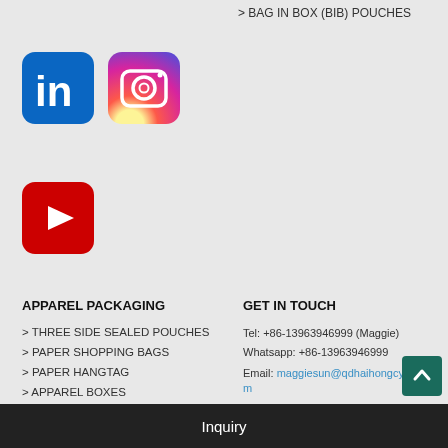> BAG IN BOX (BIB) POUCHES
[Figure (logo): LinkedIn social media icon - blue rounded square with white 'in' text]
[Figure (logo): Instagram social media icon - gradient rounded square with camera outline]
[Figure (logo): YouTube social media icon - red rounded square with white play button]
APPAREL PACKAGING
GET IN TOUCH
> THREE SIDE SEALED POUCHES
> PAPER SHOPPING BAGS
> PAPER HANGTAG
> APPAREL BOXES
> MAILER BOXES
KARET PAPER ZIPLOCK BAGS
Tel: +86-13963946999 (Maggie)
Whatsapp: +86-13963946999
Email: maggiesun@qdhaihongcy.com
Address: No.1 Kongquehe 7th Road, Jimo District, Qingdao City
Inquiry